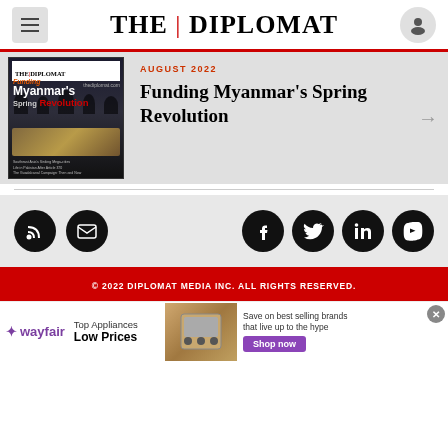THE | DIPLOMAT
[Figure (screenshot): Website screenshot of The Diplomat magazine page showing 'Funding Myanmar's Spring Revolution' August 2022 issue cover and article link, social media icons, footer, and a Wayfair advertisement banner]
AUGUST 2022
Funding Myanmar’s Spring Revolution
[Figure (illustration): Social media icons: RSS feed, email, Facebook, Twitter, LinkedIn, YouTube]
© 2022 DIPLOMAT MEDIA INC. ALL RIGHTS RESERVED.
wayfair  Top Appliances Low Prices  Save on best selling brands that live up to the hype  Shop now